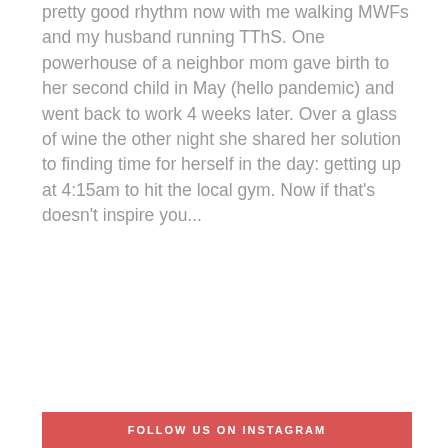pretty good rhythm now with me walking MWFs and my husband running TThS. One powerhouse of a neighbor mom gave birth to her second child in May (hello pandemic) and went back to work 4 weeks later. Over a glass of wine the other night she shared her solution to finding time for herself in the day: getting up at 4:15am to hit the local gym. Now if that's doesn't inspire you...
FOLLOW US ON INSTAGRAM